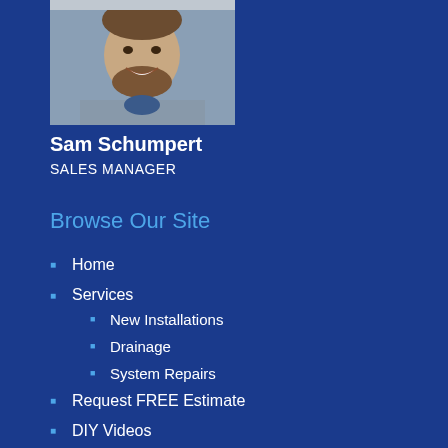[Figure (photo): Headshot photo of Sam Schumpert, a man with a beard smiling, wearing a grey hoodie]
Sam Schumpert
SALES MANAGER
Browse Our Site
Home
Services
New Installations
Drainage
System Repairs
Request FREE Estimate
DIY Videos
Referral Program